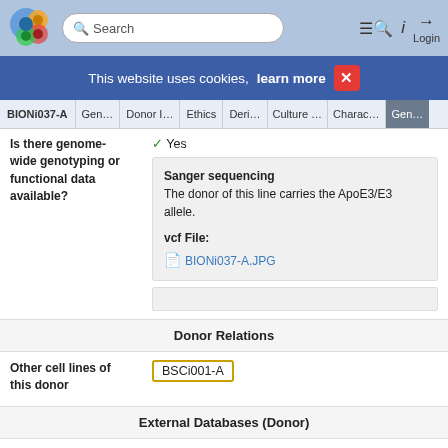BIONi037-A | Gen... | Donor I... | Ethics | Deri... | Culture ... | Charac... | Gen...
This website uses cookies, learn more
Is there genome-wide genotyping or functional data available?
Yes
Sanger sequencing
The donor of this line carries the ApoE3/E3 allele.

vcf File:
BIONi037-A.JPG
Donor Relations
Other cell lines of this donor
BSCi001-A
External Databases (Donor)
BioSamples
SAMEA104026331